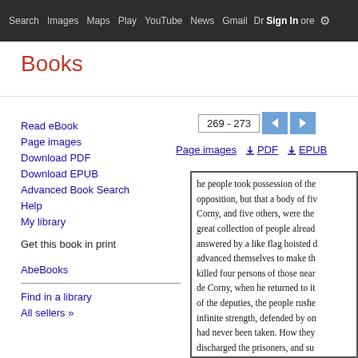Search  Images  Maps  Play  YouTube  News  Gmail  Drive  More  Sign in  Settings
Books
Read eBook
Page images
Download PDF
Download EPUB
Advanced Book Search
Help
My library
Get this book in print
AbeBooks
Find in a library
All sellers »
269 - 273
Page images  ⬇ PDF  ⬇ EPUB
he people took possession of the opposition, but that a body of fiv Corny, and five others, were the great collection of people alread answered by a like flag hoisted d advanced themselves to make th killed four persons of those near de Corny, when he returned to it of the deputies, the people rushe infinite strength, defended by on had never been taken. How they discharged the prisoners, and su Governor and Lieutenant-Govern heads, and sent them through the correspondence having been dis